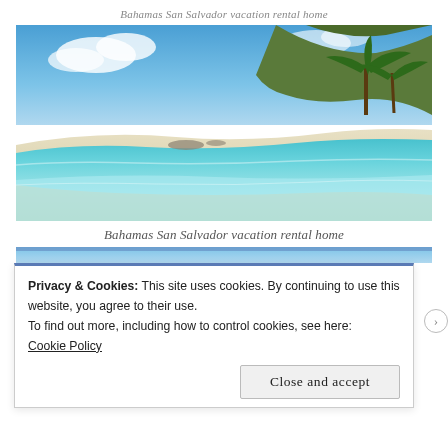Bahamas San Salvador vacation rental home
[Figure (photo): Tropical beach scene with turquoise clear water, white sand beach, palm trees and rocky outcrop in the background under a blue sky with clouds. Bahamas San Salvador.]
Bahamas San Salvador vacation rental home
[Figure (photo): Partial view of another beach/sky photo strip below the main image.]
Privacy & Cookies: This site uses cookies. By continuing to use this website, you agree to their use.
To find out more, including how to control cookies, see here:
Cookie Policy
Close and accept